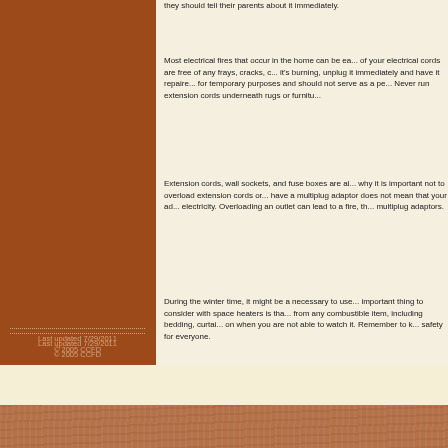they should tell their parents about it immediately.
Most electrical fires that occur in the home can be easily prevented. Make sure all of your electrical cords are free of any frays, cracks, or other damage. If a cord smells like it's burning, unplug it immediately and have it repaired or replaced. Extension cords are for temporary purposes and should not serve as a permanent solution to a shortage of outlets. Never run extension cords underneath rugs or furniture.
Extension cords, wall sockets, and fuse boxes are all limited in the amount of electricity they can carry. That is why it is important not to overload extension cords or electrical outlets. Just because you have a multiplug adaptor does not mean that your adaptor can handle unlimited amounts of electricity. Overloading an outlet can lead to a fire, therefore it is important to be aware of the dangers of multiplug adaptors.
During the winter time, it might be a necessary to use a space heater in your home. The most important thing to consider with space heaters is that they need to be kept at least three feet away from any combustible item, including bedding, curtains, and furniture. Never leave a space heater on when you are not able to watch it. Remember to keep these safety tips in mind to ensure safety for everyone.
Last updated 7/29/2011
© 2005 CCFD